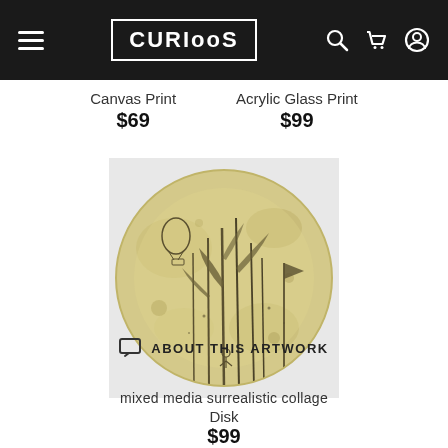CURIOOS
Canvas Print
$69
Acrylic Glass Print
$99
[Figure (illustration): A circular disk artwork showing a surrealistic mixed media collage with tall plant-like structures, a hot air balloon, and a figure, set against a yellowed aged background.]
Disk
$99
ABOUT THIS ARTWORK
mixed media surrealistic collage